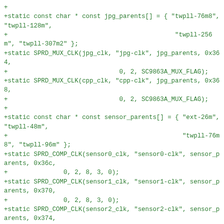+
+static const char * const jpg_parents[] = { "twpll-76m8", "twpll-128m",
+                                              "twpll-256m", "twpll-307m2" };
+static SPRD_MUX_CLK(jpg_clk, "jpg-clk", jpg_parents, 0x364,
+                              0, 2, SC9863A_MUX_FLAG);
+static SPRD_MUX_CLK(cpp_clk, "cpp-clk", jpg_parents, 0x368,
+                              0, 2, SC9863A_MUX_FLAG);
+
+static const char * const sensor_parents[] = { "ext-26m", "twpll-48m",
+                                               "twpll-76m8", "twpll-96m" };
+static SPRD_COMP_CLK(sensor0_clk, "sensor0-clk", sensor_parents, 0x36c,
+               0, 2, 8, 3, 0);
+static SPRD_COMP_CLK(sensor1_clk, "sensor1-clk", sensor_parents, 0x370,
+               0, 2, 8, 3, 0);
+static SPRD_COMP_CLK(sensor2_clk, "sensor2-clk", sensor_parents, 0x374,
+               0, 2, 8, 3, 0);
+
+static const char * const mm_vemc_parents[] = { "ext-26m", "twpll-307m2",
+                                               "twpll-384m", "isppll-468m"};